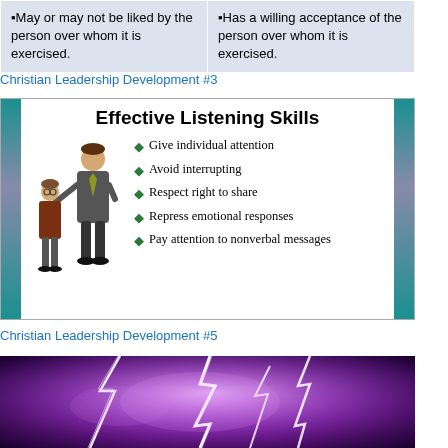| ▪May or may not be liked by the person over whom it is exercised. | ▪Has a willing acceptance of the person over whom it is exercised. |
Christian Leadership Development #3
[Figure (infographic): Effective Listening Skills slide with two cartoon figures (one pointing at the other) and a bulleted list: Give individual attention, Avoid interrupting, Respect right to share, Repress emotional responses, Pay attention to nonverbal messages]
Christian Leadership Development #5
[Figure (photo): Purple lightning storm background image]